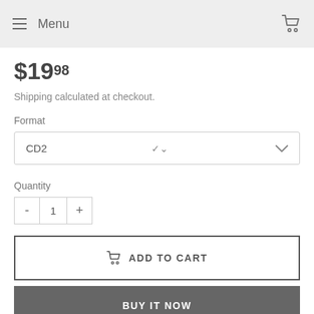Menu
$19.98
Shipping calculated at checkout.
Format
CD2
Quantity
1
ADD TO CART
BUY IT NOW